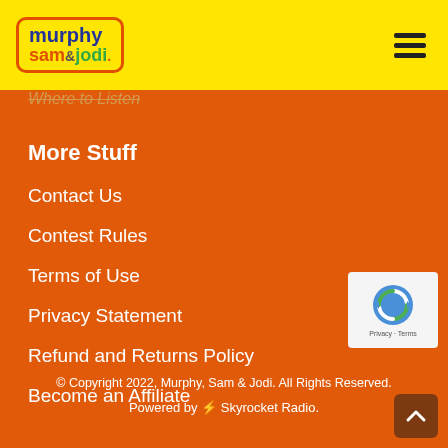[Figure (logo): Murphy Sam & Jodi logo in yellow bar header]
Where to Listen
More Stuff
Contact Us
Contest Rules
Terms of Use
Privacy Statement
Refund and Returns Policy
Become an Affiliate
[Figure (other): reCAPTCHA badge with Privacy - Terms links]
© Copyright 2022, Murphy, Sam & Jodi. All Rights Reserved.
Powered by  Skyrocket Radio.